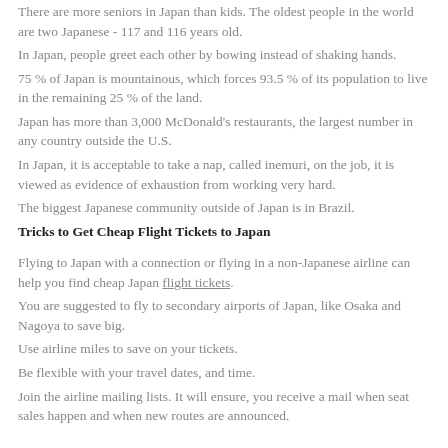There are more seniors in Japan than kids. The oldest people in the world are two Japanese - 117 and 116 years old.
In Japan, people greet each other by bowing instead of shaking hands.
75 % of Japan is mountainous, which forces 93.5 % of its population to live in the remaining 25 % of the land.
Japan has more than 3,000 McDonald's restaurants, the largest number in any country outside the U.S.
In Japan, it is acceptable to take a nap, called inemuri, on the job, it is viewed as evidence of exhaustion from working very hard.
The biggest Japanese community outside of Japan is in Brazil.
Tricks to Get Cheap Flight Tickets to Japan
Flying to Japan with a connection or flying in a non-Japanese airline can help you find cheap Japan flight tickets.
You are suggested to fly to secondary airports of Japan, like Osaka and Nagoya to save big.
Use airline miles to save on your tickets.
Be flexible with your travel dates, and time.
Join the airline mailing lists. It will ensure, you receive a mail when seat sales happen and when new routes are announced.